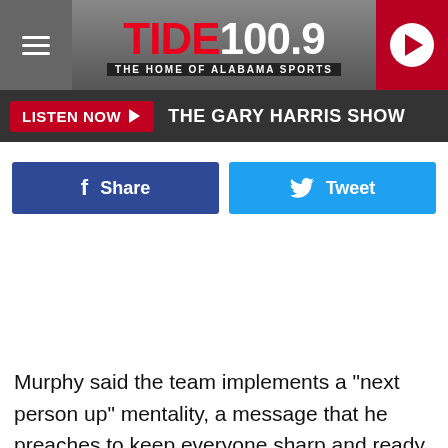[Figure (screenshot): Tide 100.9 radio station header logo with tagline 'The Home of Alabama Sports', hamburger menu icon on left, and red play button circle on right]
LISTEN NOW ▶  THE GARY HARRIS SHOW
[Figure (screenshot): Facebook Share button (dark blue) and Twitter Tweet button (light blue) side by side]
Murphy said the team implements a "next person up" mentality, a message that he preaches to keep everyone sharp and ready for when their number is called.